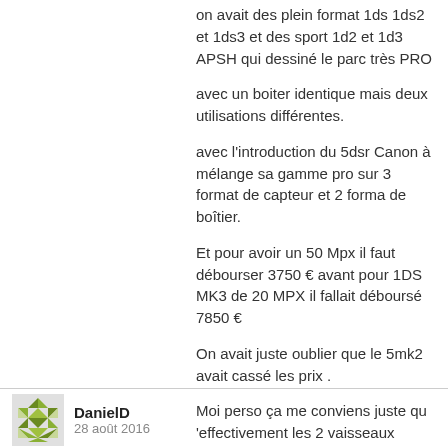on avait des plein format 1ds 1ds2 et 1ds3 et des sport 1d2 et 1d3 APSH qui dessiné le parc très PRO
avec un boiter identique mais deux utilisations différentes.
avec l'introduction du 5dsr Canon à mélange sa gamme pro sur 3 format de capteur et 2 forma de boîtier.
Et pour avoir un 50 Mpx il faut débourser 3750 € avant pour 1DS MK3 de 20 MPX il fallait déboursé 7850 €
On avait juste oublier que le 5mk2 avait cassé les prix .
Moi perso ça me conviens juste qu 'effectivement les 2 vaisseaux amiral de la flotte Canon sont forcement plus chers.
Et j'attendrai de voir comment ça va évoluer pour voir quand je renouvelle mon matos.
Belle journée à tous le monde
Répondre
DanielD
28 août 2016